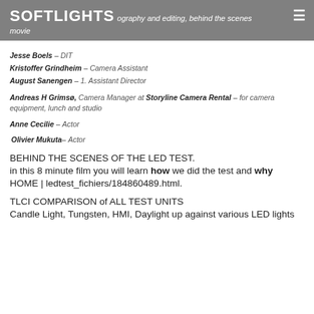SOFTLIGHTS — photography and editing, behind the scenes movie
Jesse Boels – DIT
Kristoffer Grindheim – Camera Assistant
August Sanengen – 1. Assistant Director
Andreas H Grimsø, Camera Manager at Storyline Camera Rental – for camera equipment, lunch and studio
Anne Cecilie – Actor
Olivier Mukuta– Actor
BEHIND THE SCENES OF THE LED TEST.
in this 8 minute film you will learn how we did the test and why
HOME | ledtest_fichiers/184860489.html.
TLCI COMPARISON of ALL TEST UNITS
Candle Light, Tungsten, HMI, Daylight up against various LED lights